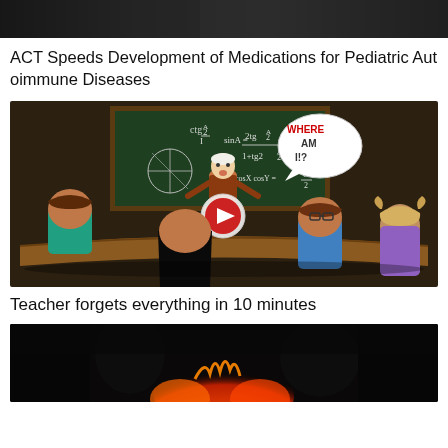[Figure (photo): Partial top image cropped, dark background]
ACT Speeds Development of Medications for Pediatric Autoimmune Diseases
[Figure (illustration): Cartoon illustration of a classroom scene: a teacher stands at a chalkboard with math formulas, students sit around a curved desk. A speech bubble says WHERE AM I!? with a play button overlay in the center.]
Teacher forgets everything in 10 minutes
[Figure (photo): Dark image with fire/flames visible at bottom, dark figures in foreground]